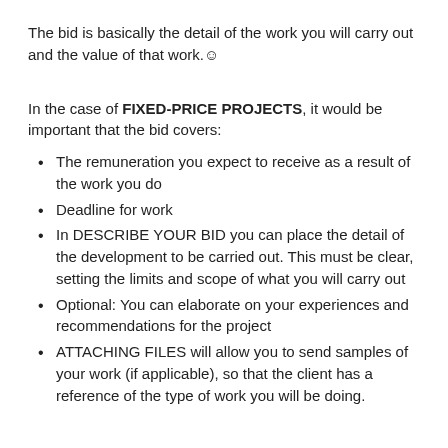The bid is basically the detail of the work you will carry out and the value of that work. ☺
In the case of FIXED-PRICE PROJECTS, it would be important that the bid covers:
The remuneration you expect to receive as a result of the work you do
Deadline for work
In DESCRIBE YOUR BID you can place the detail of the development to be carried out. This must be clear, setting the limits and scope of what you will carry out
Optional: You can elaborate on your experiences and recommendations for the project
ATTACHING FILES will allow you to send samples of your work (if applicable), so that the client has a reference of the type of work you will be doing.